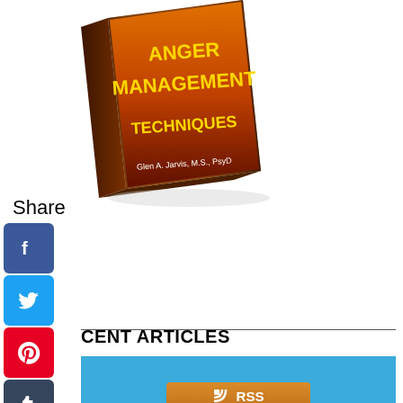[Figure (illustration): Book cover for 'Anger Management Techniques' shown as a 3D angled book with orange/dark background]
Share
[Figure (infographic): Social media sharing icons column: Facebook (blue), Twitter (light blue), Pinterest (red), Tumblr (dark blue), Reddit (orange), WhatsApp (green), Messenger (blue)]
CENT ARTICLES
[Figure (screenshot): Blue RSS subscription area with RSS button (orange), Follow button (green), and Add to My Yahoo button (white)]
npletely Confused By 20 Year Old Son's Behavior
Jul 06, 22 08:59 AM
This site uses cookies, some of which are required for its operation. Privacy policy.
Agree and Continue